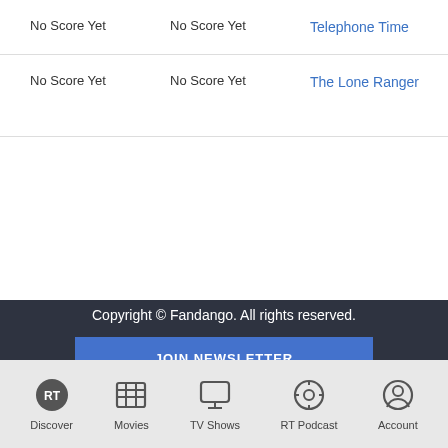| Score | Score | Title | Info |
| --- | --- | --- | --- |
| No Score Yet | No Score Yet | Telephone Time | Hos |
| No Score Yet | No Score Yet | The Lone Ranger | Unk (Gu Star |
Copyright © Fandango. All rights reserved.
JOIN NEWSLETTER
Privacy Policy  Terms and Policies  Do Not Sell My Info
AdChoices  Accessibility
Discover
Movies
TV Shows
RT Podcast
Account